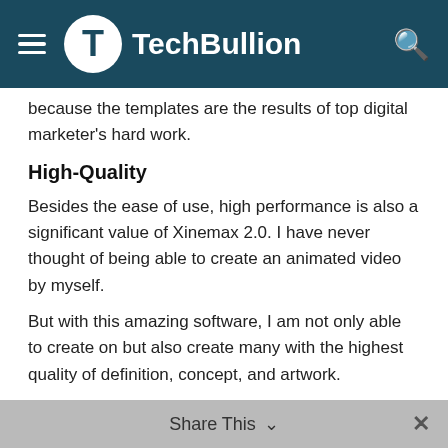TechBullion
because the templates are the results of top digital marketer's hard work.
High-Quality
Besides the ease of use, high performance is also a significant value of Xinemax 2.0. I have never thought of being able to create an animated video by myself.
But with this amazing software, I am not only able to create on but also create many with the highest quality of definition, concept, and artwork.
The Bonuses
In addition, you will be getting tons the author's greatest bonuses for your fast action.
Share This